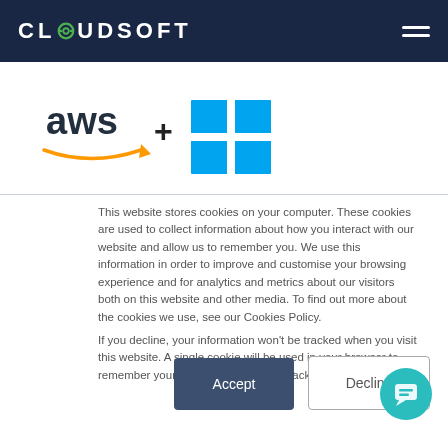CLOUDSOFT
[Figure (logo): AWS logo plus Windows logo: aws text with orange arrow underneath, plus sign, and blue Windows flag icon]
This website stores cookies on your computer. These cookies are used to collect information about how you interact with our website and allow us to remember you. We use this information in order to improve and customise your browsing experience and for analytics and metrics about our visitors both on this website and other media. To find out more about the cookies we use, see our Cookies Policy.
If you decline, your information won't be tracked when you visit this website. A single cookie will be used in your browser to remember your preference not to be tracked.